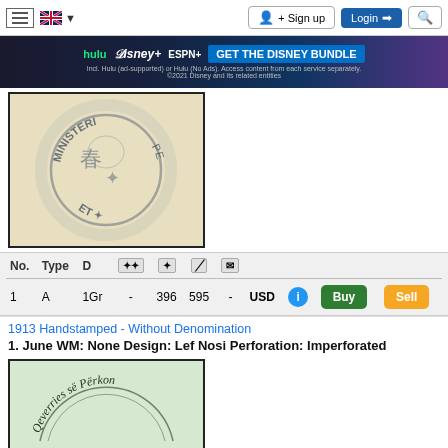Sign up | Login
[Figure (photo): Advertisement banner: hulu Disney+ ESPN+ GET THE DISNEY BUNDLE. Incl. Hulu (ad-supported) or Hulu (No Ads). Access content from each service separately. ©2021 Disney and its related entities]
[Figure (photo): Stamp image showing a circular handstamp with text MINISTERI and Asian characters, on beige paper background]
| No. | Type | D | ** | * | / | mail |  |  | USD | i | Buy | Sell |
| --- | --- | --- | --- | --- | --- | --- | --- | --- | --- | --- | --- | --- |
| 1 | A | 1Gr | - | 396 | 595 | - |  |  | USD | i | Buy | Sell |
1913 Handstamped - Without Denomination
1. June WM: None Design: Lef Nosi Perforation: Imperforated
[Figure (photo): Stamp image showing circular text reading Qeverries se Perkon... and Shqipenies on green-tinted paper]